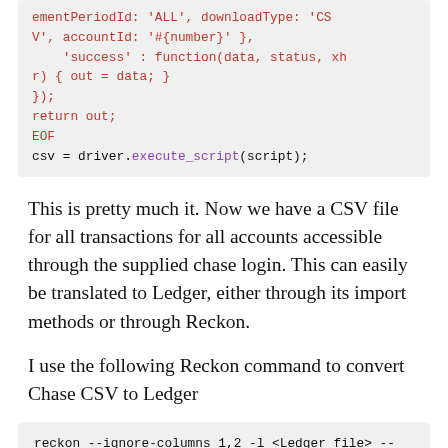[Figure (screenshot): Code block showing JavaScript snippet with ementPeriodId, downloadType, accountId, success function, return out, EOF, and csv = driver.execute_script(script);]
This is pretty much it. Now we have a CSV file for all transactions for all accounts accessible through the supplied chase login. This can easily be translated to Ledger, either through its import methods or through Reckon.
I use the following Reckon command to convert Chase CSV to Ledger
[Figure (screenshot): Code block: reckon --ignore-columns 1,2 -l <Ledger file> --contains-header --unattended --account Liabilities:Chase -f <CSV file>]